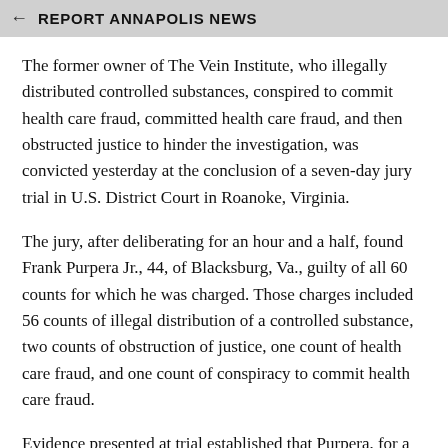← REPORT ANNAPOLIS NEWS
The former owner of The Vein Institute, who illegally distributed controlled substances, conspired to commit health care fraud, committed health care fraud, and then obstructed justice to hinder the investigation, was convicted yesterday at the conclusion of a seven-day jury trial in U.S. District Court in Roanoke, Virginia.
The jury, after deliberating for an hour and a half, found Frank Purpera Jr., 44, of Blacksburg, Va., guilty of all 60 counts for which he was charged. Those charges included 56 counts of illegal distribution of a controlled substance, two counts of obstruction of justice, one count of health care fraud, and one count of conspiracy to commit health care fraud.
Evidence presented at trial established that Purpera, for a period of approximately five years, wrote numerous